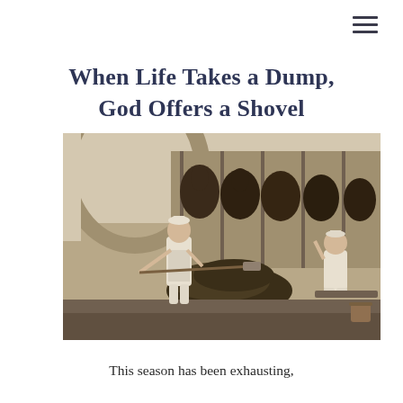≡
When Life Takes a Dump, God Offers a Shovel
[Figure (photo): Vintage black-and-white photograph of a stable scene. One person dressed in white work clothes and a cap is actively shoveling a large pile of manure with a shovel, while another person dressed in white sits on a ledge to the right looking dejected. Several dark horses are visible in stalls in the background under an arched ceiling.]
This season has been exhausting,